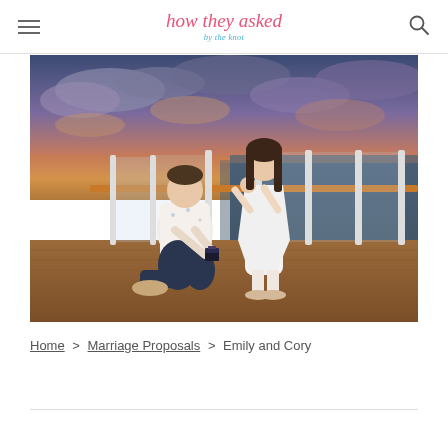how they asked by the knot
[Figure (photo): A man kneeling on one knee proposing to a woman on the deck of a cruise ship at sunset. The woman covers her mouth in surprise. The ocean and dramatic cloudy sunset sky are visible in the background. The deck has wooden flooring and glass railings with white posts.]
Home > Marriage Proposals > Emily and Cory